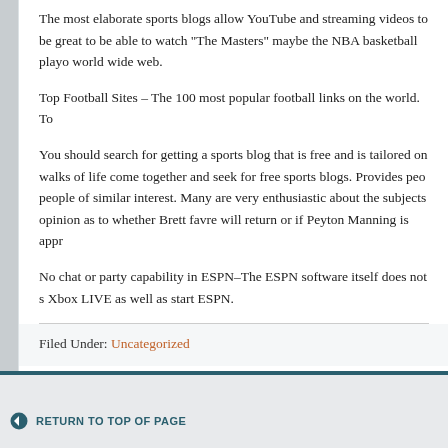The most elaborate sports blogs allow YouTube and streaming videos to... great to be able to watch “The Masters” maybe the NBA basketball play... world wide web.
Top Football Sites – The 100 most popular football links on the world. To...
You should search for getting a sports blog that is free and is tailored on... walks of life come together and seek for free sports blogs. Provides peo... people of similar interest. Many are very enthusiastic about the subjects... opinion as to whether Brett favre will return or if Peyton Manning is appr...
No chat or party capability in ESPN–The ESPN software itself does not s... Xbox LIVE as well as start ESPN.
Filed Under: Uncategorized
RETURN TO TOP OF PAGE